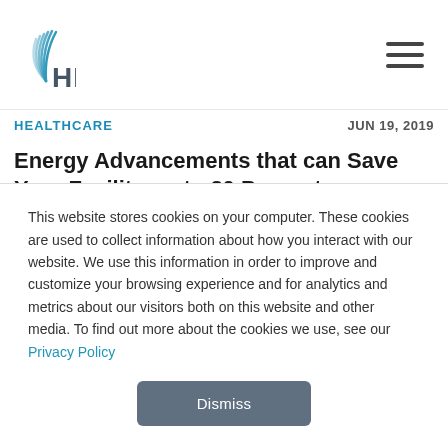[Figure (logo): HHS logo with stylized wave icon and HHS text]
HEALTHCARE    JUN 19, 2019
Energy Advancements that can Save Your Facility up to 20 Percent
Artificial intelligence (AI) has made great strides in the technology and energy fields...
This website stores cookies on your computer. These cookies are used to collect information about how you interact with our website. We use this information in order to improve and customize your browsing experience and for analytics and metrics about our visitors both on this website and other media. To find out more about the cookies we use, see our Privacy Policy
Dismiss